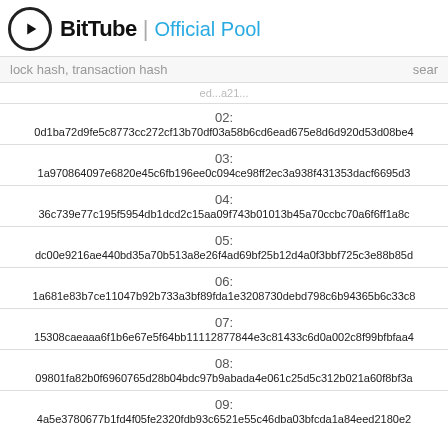BitTube | Official Pool
lock hash, transaction hash  sear
02:
0d1ba72d9fe5c8773cc272cf13b70df03a58b6cd6ead675e8d6d920d53d08be4
03:
1a970864097e6820e45c6fb196ee0c094ce98ff2ec3a938f431353dacf6695d3
04:
36c739e77c195f5954db1dcd2c15aa09f743b01013b45a70ccbc70a6f6ff1a8c
05:
dc00e9216ae440bd35a70b513a8e26f4ad69bf25b12d4a0f3bbf725c3e88b85d
06:
1a681e83b7ce11047b92b733a3bf89fda1e3208730debd798c6b94365b6c33c8
07:
15308caeaaa6f1b6e67e5f64bb11112877844e3c81433c6d0a002c8f99bfbfaa4
08:
09801fa82b0f6960765d28b04bdc97b9abada4e061c25d5c312b021a60f8bf3a
09:
4a5e3780677b1fd4f05fe2320fdb93c6521e55c46dba03bfcda1a84eed2180e2